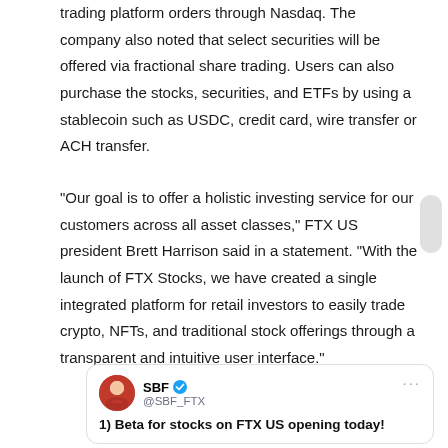trading platform orders through Nasdaq. The company also noted that select securities will be offered via fractional share trading. Users can also purchase the stocks, securities, and ETFs by using a stablecoin such as USDC, credit card, wire transfer or ACH transfer.
"Our goal is to offer a holistic investing service for our customers across all asset classes," FTX US president Brett Harrison said in a statement. "With the launch of FTX Stocks, we have created a single integrated platform for retail investors to easily trade crypto, NFTs, and traditional stock offerings through a transparent and intuitive user interface."
[Figure (screenshot): Embedded tweet from SBF (@SBF_FTX) with verified badge and three-dot menu, showing beginning of tweet text '1) Beta for stocks on FTX US opening today!']